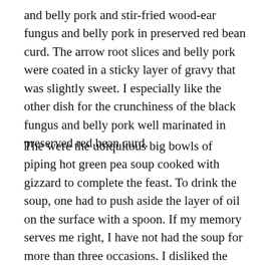and belly pork and stir-fried wood-ear fungus and belly pork in preserved red bean curd. The arrow root slices and belly pork were coated in a sticky layer of gravy that was slightly sweet. I especially like the other dish for the crunchiness of the black fungus and belly pork well marinated in preserved red bean curd.
The were the ubiquitous big bowls of piping hot green pea soup cooked with gizzard to complete the feast. To drink the soup, one had to push aside the layer of oil on the surface with a spoon. If my memory serves me right, I have not had the soup for more than three occasions. I disliked the murkiness, the raw taste of the peas and how they made the